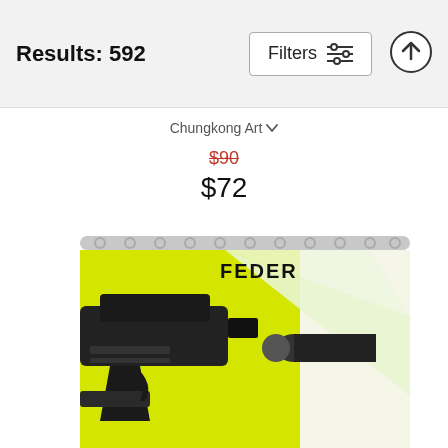Results: 592
Chungkong Art
$90
$72
[Figure (photo): A shower curtain product image showing a minimalist movie-poster-style design on a bright yellow background with a black gun silhouette on the left and a bullet on the right, with a white triangular light beam between them. The curtain hangs from a silver rod with rings.]